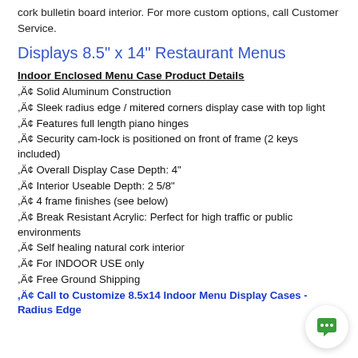cork bulletin board interior. For more custom options, call Customer Service.
Displays 8.5" x 14" Restaurant Menus
Indoor Enclosed Menu Case Product Details
• Solid Aluminum Construction
• Sleek radius edge / mitered corners display case with top light
• Features full length piano hinges
• Security cam-lock is positioned on front of frame (2 keys included)
• Overall Display Case Depth: 4"
• Interior Useable Depth: 2 5/8"
• 4 frame finishes (see below)
• Break Resistant Acrylic: Perfect for high traffic or public environments
• Self healing natural cork interior
• For INDOOR USE only
• Free Ground Shipping
• Call to Customize 8.5x14 Indoor Menu Display Cases - Radius Edge